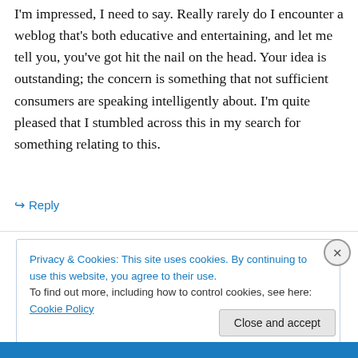I'm impressed, I need to say. Really rarely do I encounter a weblog that's both educative and entertaining, and let me tell you, you've got hit the nail on the head. Your idea is outstanding; the concern is something that not sufficient consumers are speaking intelligently about. I'm quite pleased that I stumbled across this in my search for something relating to this.
↪ Reply
Privacy & Cookies: This site uses cookies. By continuing to use this website, you agree to their use.
To find out more, including how to control cookies, see here: Cookie Policy
Close and accept